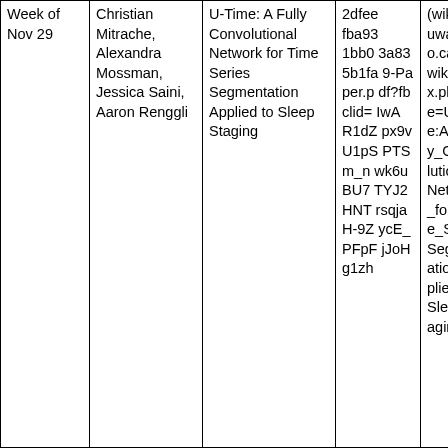| Week of Nov 29 | Christian Mitrache, Alexandra Mossman, Jessica Saini, Aaron Renggli | U-Time: A Fully Convolutional Network for Time Series Segmentation Applied to Sleep Staging | 2dfeefba931bb03a835b1fa9-Paper.pdf?fbclid=IwAR1dZpx9vU1pSPTSm_nwk6uBU7TYJ2HNTrsqjaH-9ZycE_PFpFjJoHg1zh | (wiki.math.uwaterloo.ca/statwiki/index.php?title=U-Time:A_Fully_Convolutional_Network_for_Time_Series_Segmentation_Applied_to_Sleep_Staging) |